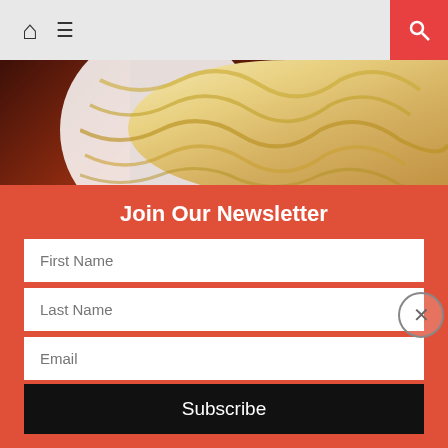[Figure (screenshot): Website navigation bar with home icon, hamburger menu icon, and red search button on the right]
[Figure (photo): Close-up photo of noodles and dark reddish food item on a plate]
INGREDIENTS
Noodles
March 13, 2019   admin   Comment(0)
Photo by Jun Seita (cc)
Join Our Newsletter
First Name
Last Name
Email
Subscribe